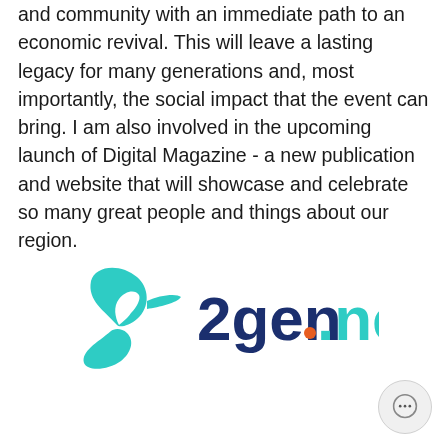and community with an immediate path to an economic revival. This will leave a lasting legacy for many generations and, most importantly, the social impact that the event can bring. I am also involved in the upcoming launch of Digital Magazine - a new publication and website that will showcase and celebrate so many great people and things about our region.
[Figure (logo): 2gen.net logo — teal bird/leaf icon on the left, dark navy text '2gen' followed by an orange dot and '.net' in teal]